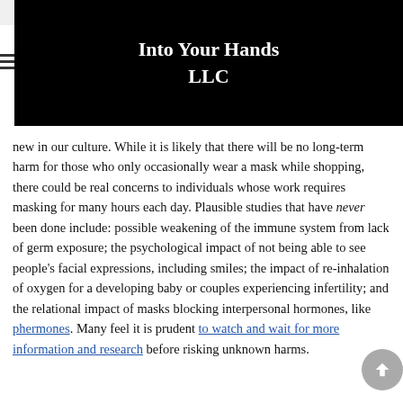Into Your Hands LLC
new in our culture. While it is likely that there will be no long-term harm for those who only occasionally wear a mask while shopping, there could be real concerns to individuals whose work requires masking for many hours each day. Plausible studies that have never been done include: possible weakening of the immune system from lack of germ exposure; the psychological impact of not being able to see people's facial expressions, including smiles; the impact of re-inhalation of oxygen for a developing baby or couples experiencing infertility; and the relational impact of masks blocking interpersonal hormones, like phermones. Many feel it is prudent to watch and wait for more information and research before risking unknown harms.